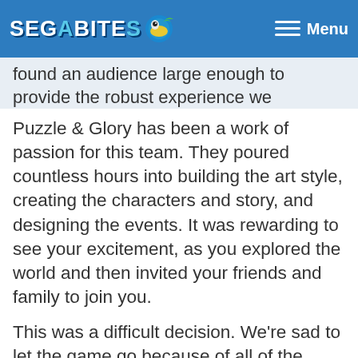SEGABITS — Menu
found an audience large enough to provide the robust experience we envisioned. As a result, we have to shut things down.
Puzzle & Glory has been a work of passion for this team. They poured countless hours into building the art style, creating the characters and story, and designing the events. It was rewarding to see your excitement, as you explored the world and then invited your friends and family to join you.
This was a difficult decision. We're sad to let the game go because of all of the wonderful ideas (yours included!) we had planned. We thank you for all of your feedback during this adventure. We're grateful for your dedication and enthusiasm for Puzzle & Glo…